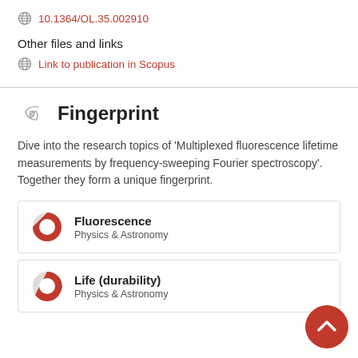10.1364/OL.35.002910
Other files and links
Link to publication in Scopus
Fingerprint
Dive into the research topics of 'Multiplexed fluorescence lifetime measurements by frequency-sweeping Fourier spectroscopy'. Together they form a unique fingerprint.
Fluorescence
Physics & Astronomy
Life (durability)
Physics & Astronomy